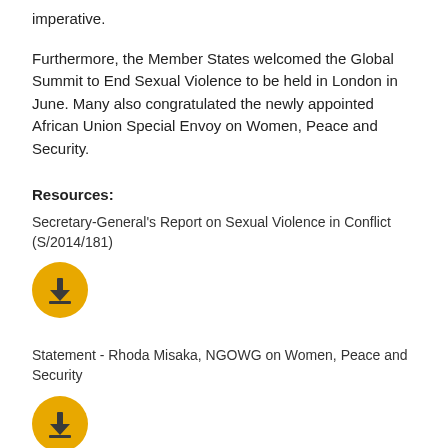imperative.
Furthermore, the Member States welcomed the Global Summit to End Sexual Violence to be held in London in June. Many also congratulated the newly appointed African Union Special Envoy on Women, Peace and Security.
Resources:
Secretary-General's Report on Sexual Violence in Conflict (S/2014/181)
[Figure (illustration): Golden circular download button icon with a downward arrow above a tray/inbox symbol]
Statement - Rhoda Misaka, NGOWG on Women, Peace and Security
[Figure (illustration): Golden circular download button icon with a downward arrow above a tray/inbox symbol]